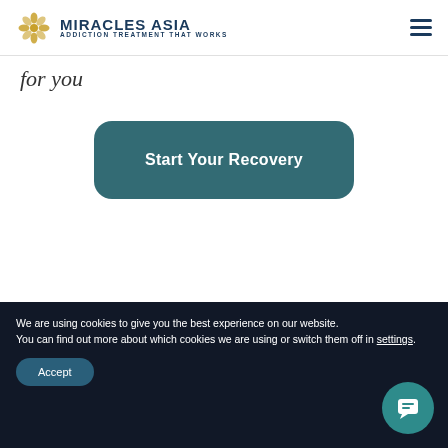MIRACLES ASIA ADDICTION TREATMENT THAT WORKS
for you
Start Your Recovery
We are using cookies to give you the best experience on our website.
You can find out more about which cookies we are using or switch them off in settings.
Accept